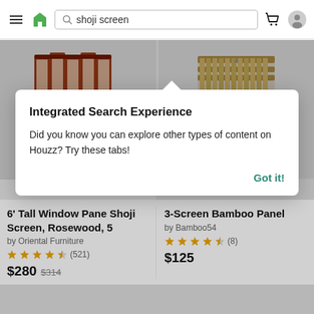shoji screen — Houzz search header
[Figure (screenshot): Two product images: left shows a 6-panel rosewood shoji folding screen, right shows a 3-panel bamboo panel screen, on gray background]
More Styles
[Figure (infographic): Modal dialog overlay: Integrated Search Experience tooltip]
6' Tall Window Pane Shoji Screen, Rosewood, 5
by Oriental Furniture
★★★★½ (521)
$280  $314
3-Screen Bamboo Panel
by Bamboo54
★★★★½ (8)
$125